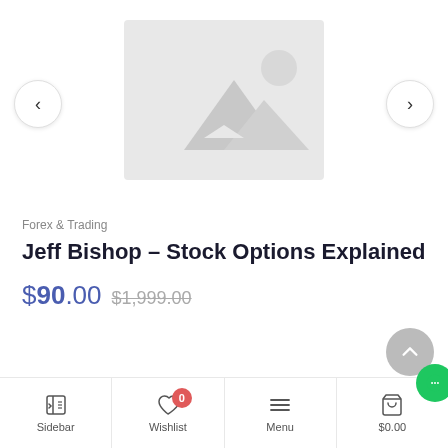[Figure (illustration): Product image placeholder with mountain/landscape icon in light gray]
Forex & Trading
Jeff Bishop – Stock Options Explained
$90.00 $1,999.00
Sidebar | Wishlist 0 | Menu | $0.00